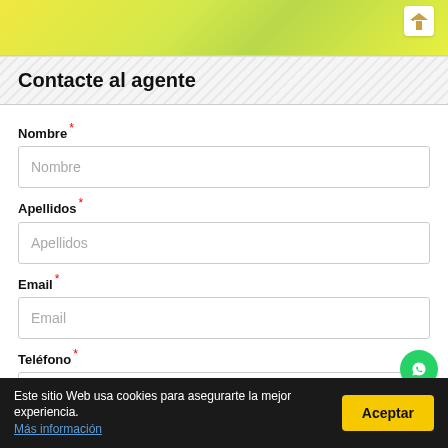[Figure (photo): Yellow-green blurred background image with a white icon box in the top-right corner showing a house/agent icon]
Contacte al agente
Nombre *
Apellidos *
Email *
Teléfono *
Comentarios
Este sitio Web usa cookies para asegurarte la mejor experiencia. Más información
Aceptar